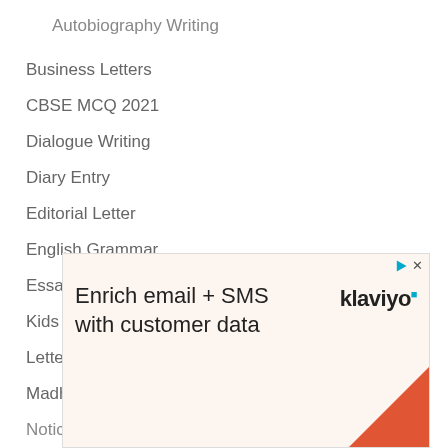Autobiography Writing
Business Letters
CBSE MCQ 2021
Dialogue Writing
Diary Entry
Editorial Letter
English Grammar
Essay Writing
Kids Learning
Letter Writing
Madhyamik
Notice Writing
[Figure (other): Advertisement banner for Klaviyo: 'Enrich email + SMS with customer data' with Klaviyo logo and decorative triangle in bottom right corner]